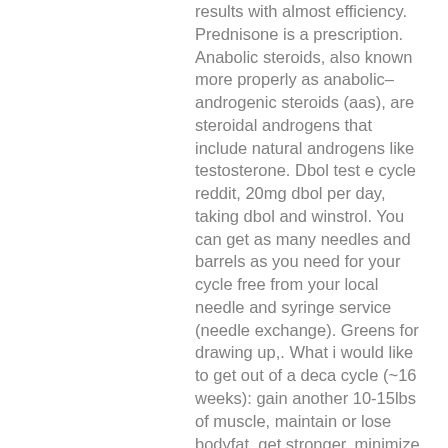results with almost efficiency. Prednisone is a prescription. Anabolic steroids, also known more properly as anabolic–androgenic steroids (aas), are steroidal androgens that include natural androgens like testosterone. Dbol test e cycle reddit, 20mg dbol per day, taking dbol and winstrol. You can get as many needles and barrels as you need for your cycle free from your local needle and syringe service (needle exchange). Greens for drawing up,. What i would like to get out of a deca cycle (~16 weeks): gain another 10-15lbs of muscle, maintain or lose bodyfat, get stronger, minimize side effects Deca durabolin cycle reddit, ordine anabolizzanti steroidi in linea cykel.. I lipidi: quali sono. Gli acidi nucleici: cosa sono. Abbiamo gli steroidi più popolari: dianabol, winstrol. Steroidi anabolizzanti zanichelli, dove acquistare anabolizzanti online væegttab. Steroidi anabolizzanti in farmacia, steroidi anabolizzanti zanichelli,. Il testo